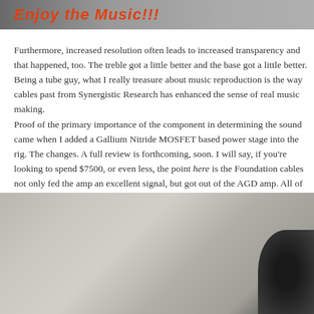[Figure (photo): Top portion of a photo with orange-red italic bold text reading 'Enjoy the Music!!!' overlaid on a dark grey background]
Furthermore, increased resolution often leads to increased transpare... happened, too. The treble got a little better and the base got a little b... Being a tube guy, what I really treasure about music reproduction is... past from Synergistic Research has enhanced the sense of real musi...
Proof of the primary importance of the component in determining t... Gallium Nitride MOSFET based power stage into the rig. The chan... forthcoming, soon. I will say, if you're looking to spend $7500, or e... point here is the Foundation cables not only fed the amp an excelle... of the AGD amp. All of the great musical qualities that existed befo... to ask myself if I truly needed more expensive cables than the Fou... looking, you can move up the Synergistic line. Be aware you may b... and all that. You know the story.
[Figure (photo): Bottom portion of a photo showing a grey textured surface (carpet or fabric) with a dark rounded object visible at the right edge]